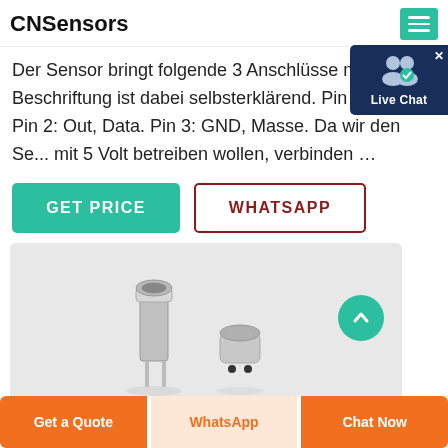CNSensors
Der Sensor bringt folgende 3 Anschlüsse mit. Die Beschriftung ist dabei selbsterklärend. Pin 1: VCC (5 Pin 2: Out, Data. Pin 3: GND, Masse. Da wir den Se... mit 5 Volt betreiben wollen, verbinden …
[Figure (screenshot): GET PRICE and WHATSAPP buttons]
[Figure (photo): Product photo showing two silver metal sensor components on a light gray background]
[Figure (screenshot): Live Chat widget overlay in top right corner]
Get a Quote | WhatsApp | Chat Now